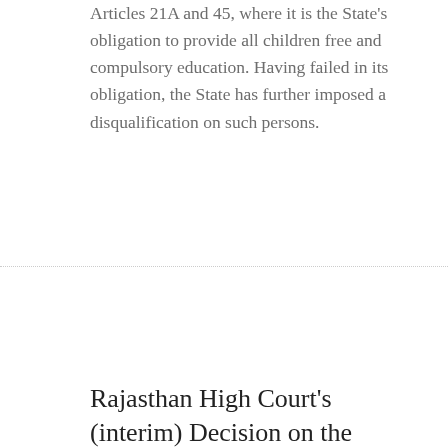Articles 21A and 45, where it is the State's obligation to provide all children free and compulsory education. Having failed in its obligation, the State has further imposed a disqualification on such persons.
Rajasthan High Court's (interim) Decision on the Panchayati Raj